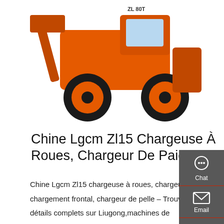[Figure (photo): Orange LGCM ZL15 wheel loader construction machine on white background, shown from the side/front angle with large tires and raised bucket arm.]
Chine Lgcm Zl15 Chargeuse À Roues, Chargeur De Paiement
Chine Lgcm Zl15 chargeuse à roues, chargeur de paiement, chargement frontal, chargeur de pelle – Trouver les prix et les détails complets sur Liugong,machines de construction,chargeur produits du Fournisseur ou du Fabricant - SHANDONG LAIGONG …
[Figure (other): Sidebar panel with dark gray background containing three icons: Chat (headset icon), Email (envelope icon), Contact (speech bubble icon), each separated by a red line.]